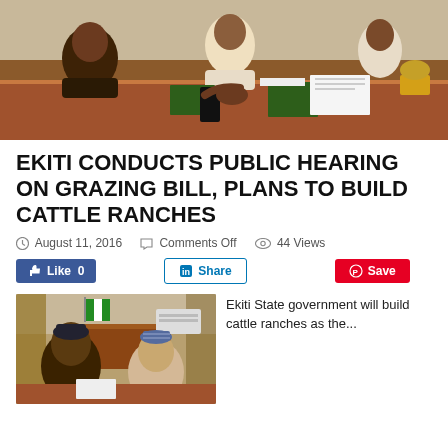[Figure (photo): People seated around a conference table at a public hearing, with books and documents on the table]
EKITI CONDUCTS PUBLIC HEARING ON GRAZING BILL, PLANS TO BUILD CATTLE RANCHES
August 11, 2016   Comments Off   44 Views
[Figure (infographic): Social media buttons: Like 0 (Facebook), Share (LinkedIn), Save (Pinterest)]
[Figure (photo): Two men in traditional attire seated at a table in an official setting]
Ekiti State government will build cattle ranches as the...